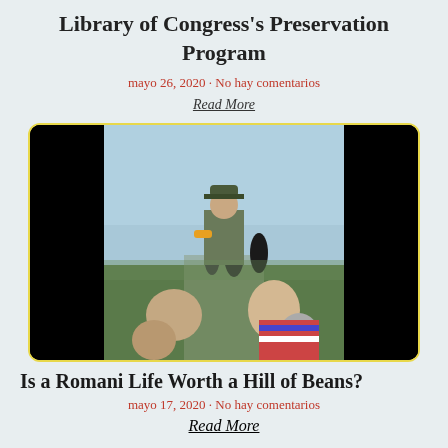Library of Congress's Preservation Program
mayo 26, 2020 · No hay comentarios
Read More
[Figure (photo): Video thumbnail showing people outdoors in a field, with someone in military/uniform attire facing a crowd. The image has black bars on left and right sides with a yellow/gold border around the frame.]
Is a Romani Life Worth a Hill of Beans?
mayo 17, 2020 · No hay comentarios
Read More